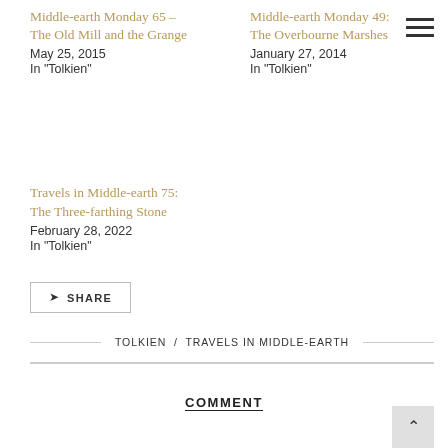Middle-earth Monday 65 – The Old Mill and the Grange
May 25, 2015
In "Tolkien"
Middle-earth Monday 49: The Overbourne Marshes
January 27, 2014
In "Tolkien"
Travels in Middle-earth 75: The Three-farthing Stone
February 28, 2022
In "Tolkien"
SHARE
TOLKIEN / TRAVELS IN MIDDLE-EARTH
COMMENT